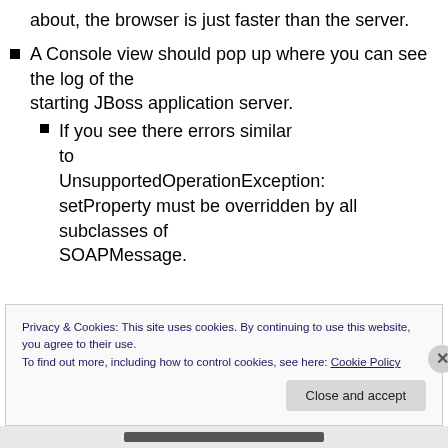about, the browser is just faster than the server.
A Console view should pop up where you can see the log of the starting JBoss application server.
If you see there errors similar to UnsupportedOperationException: setProperty must be overridden by all subclasses of SOAPMessage.
Privacy & Cookies: This site uses cookies. By continuing to use this website, you agree to their use.
To find out more, including how to control cookies, see here: Cookie Policy
Close and accept